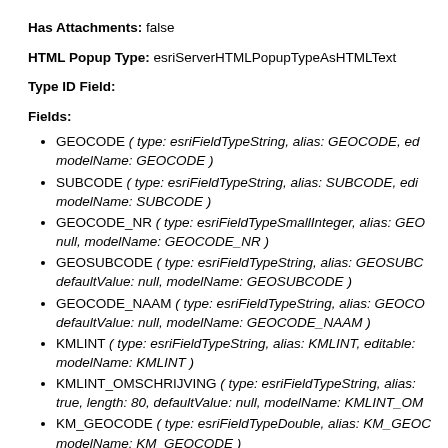Has Attachments: false
HTML Popup Type: esriServerHTMLPopupTypeAsHTMLText
Type ID Field:
Fields:
GEOCODE ( type: esriFieldTypeString, alias: GEOCODE, ed... modelName: GEOCODE )
SUBCODE ( type: esriFieldTypeString, alias: SUBCODE, edi... modelName: SUBCODE )
GEOCODE_NR ( type: esriFieldTypeSmallInteger, alias: GEO... null, modelName: GEOCODE_NR )
GEOSUBCODE ( type: esriFieldTypeString, alias: GEOSUBC... defaultValue: null, modelName: GEOSUBCODE )
GEOCODE_NAAM ( type: esriFieldTypeString, alias: GEOCO... defaultValue: null, modelName: GEOCODE_NAAM )
KMLINT ( type: esriFieldTypeString, alias: KMLINT, editable:... modelName: KMLINT )
KMLINT_OMSCHRIJVING ( type: esriFieldTypeString, alias:... true, length: 80, defaultValue: null, modelName: KMLINT_OM...
KM_GEOCODE ( type: esriFieldTypeDouble, alias: KM_GEOC... modelName: KM_GEOCODE )
KM_GEOCODE_T ( type: esriFieldTypeString, alias: KM_GE... defaultValue: null, modelName: KM_GEOCODE_T )